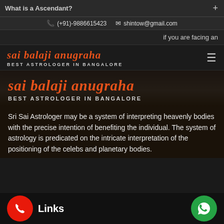What is a Ascendant?
(+91)-9886615423   shintow@gmail.com
if you are facing an
sai balaji anugraha
BEST ASTROLOGER IN BANGALORE
sai balaji anugraha
BEST ASTROLOGER IN BANGALORE
Sri Sai Astrologer may be a system of interpreting heavenly bodies with the precise intention of benefiting the individual. The system of astrology is predicated on the intricate interpretation of the positioning of the celebs and planetary bodies.
Links